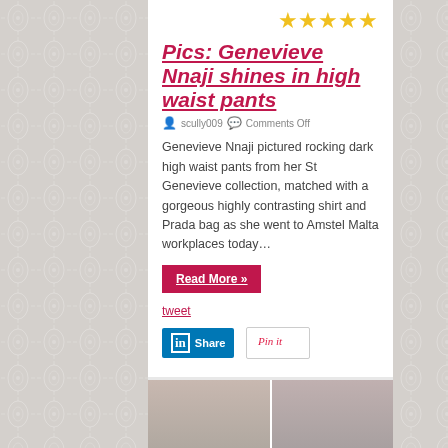[Figure (infographic): Five gold star rating icons displayed in the top right]
Pics: Genevieve Nnaji shines in high waist pants
scully009   Comments Off
Genevieve Nnaji pictured rocking dark high waist pants from her St Genevieve collection, matched with a gorgeous highly contrasting shirt and Prada bag as she went to Amstel Malta workplaces today…
Read More »
tweet
[Figure (infographic): LinkedIn Share button and Pinterest Pin it button]
[Figure (photo): Two photos of Genevieve Nnaji at the bottom of the page]